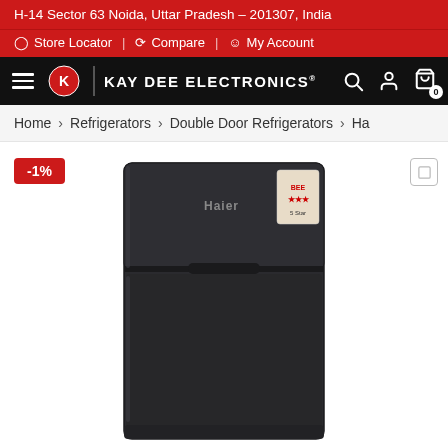H-14 Sector 63 Noida, Uttar Pradesh – 201307, India
Store Locator | Compare | My Account
KAY DEE ELECTRONICS®
Home > Refrigerators > Double Door Refrigerators > Ha
[Figure (photo): Double door Haier refrigerator in dark grey/black color finish, showing top freezer compartment and bottom fridge compartment with handle]
-1%